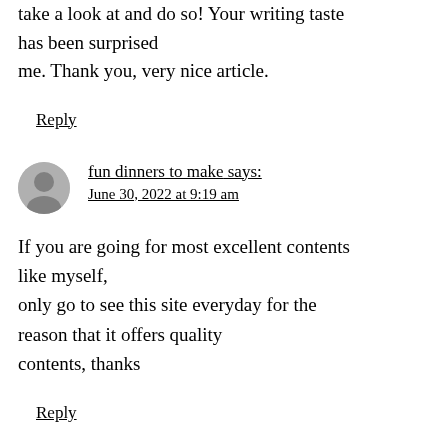take a look at and do so! Your writing taste has been surprised me. Thank you, very nice article.
Reply
fun dinners to make says:
June 30, 2022 at 9:19 am
If you are going for most excellent contents like myself, only go to see this site everyday for the reason that it offers quality contents, thanks
Reply